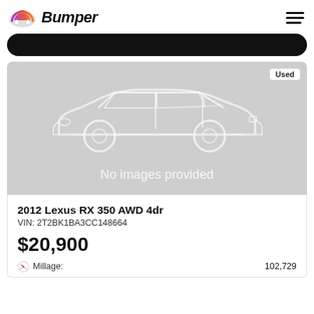Bumper
[Figure (screenshot): Dark rounded bar UI element at top of page]
[Figure (illustration): Gray card with white car silhouette outline and 'No images provided' text, with Used badge]
2012 Lexus RX 350 AWD 4dr
VIN: 2T2BK1BA3CC148664
$20,900
Millage: 102,729